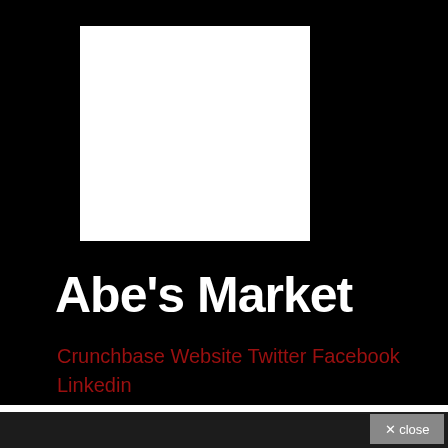[Figure (logo): White square logo placeholder on black background]
Abe's Market
Crunchbase Website Twitter Facebook Linkedin
Abe's Market is an online marketplace that provides natural product entrepreneurs with a platform to showcase their products.
× close